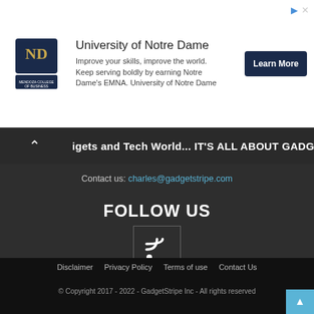[Figure (screenshot): University of Notre Dame advertisement banner with logo, text 'Improve your skills, improve the world. Keep serving boldly by earning Notre Dame's EMNA. University of Notre Dame', and 'Learn More' button]
igets and Tech World... IT'S ALL ABOUT GADGETS!!!
Contact us: charles@gadgetstripe.com
FOLLOW US
[Figure (illustration): RSS feed icon in a square box]
Disclaimer   Privacy Policy   Terms of use   Contact Us
© Copyright 2017 - 2022 - GadgetStripe Inc - All rights reserved